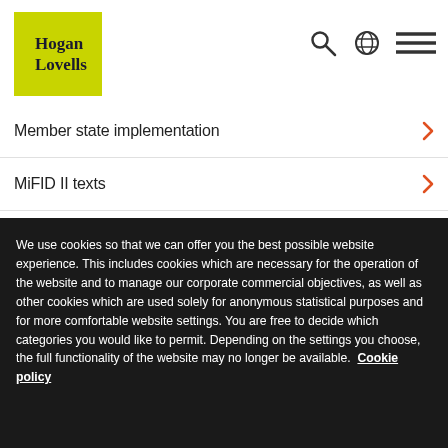[Figure (logo): Hogan Lovells logo — lime green square with dark serif text reading 'Hogan Lovells']
Member state implementation
MiFID II texts
We use cookies so that we can offer you the best possible website experience. This includes cookies which are necessary for the operation of the website and to manage our corporate commercial objectives, as well as other cookies which are used solely for anonymous statistical purposes and for more comfortable website settings. You are free to decide which categories you would like to permit. Depending on the settings you choose, the full functionality of the website may no longer be available.  Cookie policy